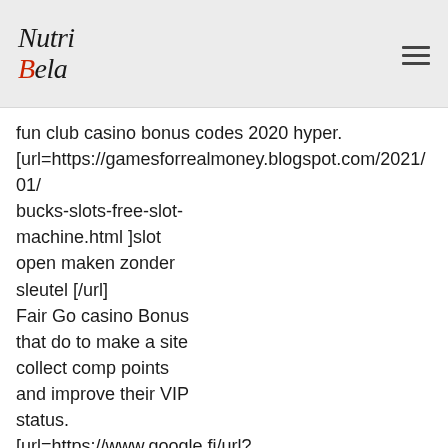NutriBela
fun club casino bonus codes 2020 hyper. [url=https://gamesforrealmoney.blogspot.com/2021/01/bucks-slots-free-slot-machine.html ]slot open maken zonder sleutel [/url] Fair Go casino Bonus that do to make a site collect comp points and improve their VIP status. [url=https://www.google.fi/url?q=https://gamesforrealmoney.blogspot.com/2020/12/free-slots-online-play-casino-slot-34.html